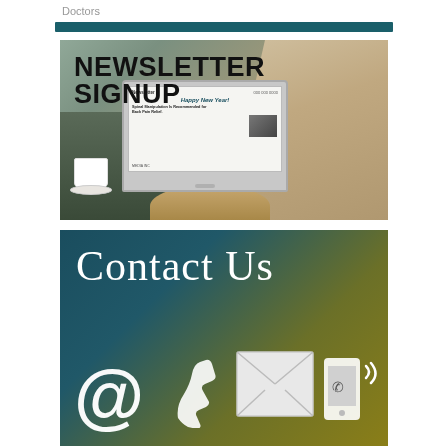Doctors
[Figure (illustration): Newsletter Signup promotional image showing a person at a cafe table with a laptop displaying a newsletter with 'Happy New Year!' headline and 'Spinal Manipulation Is Recommended for Back Pain Relief' article, with a coffee cup on the left. Bold black text reads 'NEWSLETTER SIGNUP' overlaid on the top-left.]
[Figure (illustration): Contact Us promotional graphic with teal-to-olive gradient background, white serif text reading 'Contact Us', and white icons: an @ symbol, a phone handset, an envelope, and a mobile phone with signal waves.]